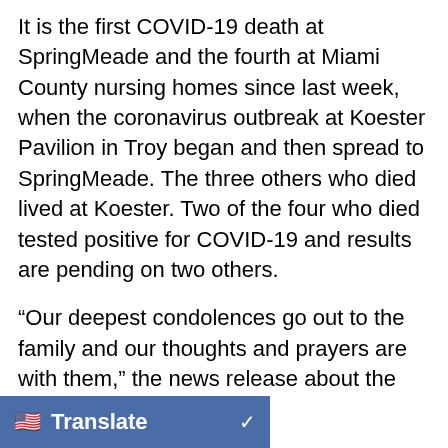It is the first COVID-19 death at SpringMeade and the fourth at Miami County nursing homes since last week, when the coronavirus outbreak at Koester Pavilion in Troy began and then spread to SpringMeade. The three others who died lived at Koester. Two of the four who died tested positive for COVID-19 and results are pending on two others.
“Our deepest condolences go out to the family and our thoughts and prayers are with them,” the news release about the latest death says.
No new cases of COVID-19 have been reported in Miami County, the local health district said.
The county is grappling with a cluster outbreak of COVID-19, occurring at the two nursing homes. Six people remain hospitalized. More than 31 other [...]ors are being monitored for [...]